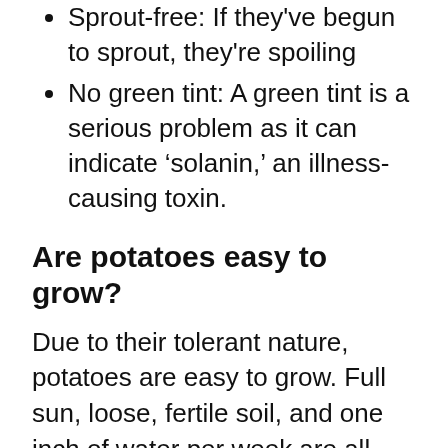Sprout-free: If they've begun to sprout, they're spoiling
No green tint: A green tint is a serious problem as it can indicate 'solanin,' an illness-causing toxin.
Are potatoes easy to grow?
Due to their tolerant nature, potatoes are easy to grow. Full sun, loose, fertile soil, and one inch of water per week are all you need for an abundant crop. They can be grown in a container, pot, or bed.
Sweet potatoes are also easy to…